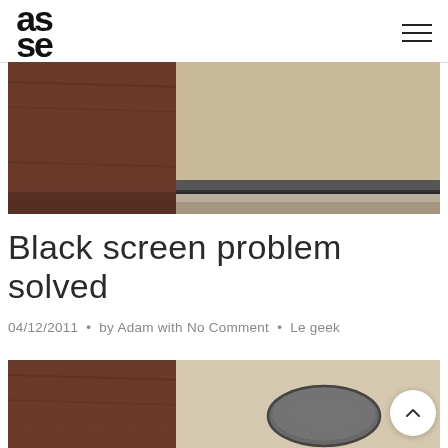asse logo and navigation menu
[Figure (photo): Close-up photo of a laptop on a wooden surface, showing the edge of the screen and keyboard from above]
Black screen problem solved
04/12/2011  •  by Adam with No Comment  •  Le geek
[Figure (photo): Close-up photo of a coin cell battery on a beige surface next to a wooden table edge]